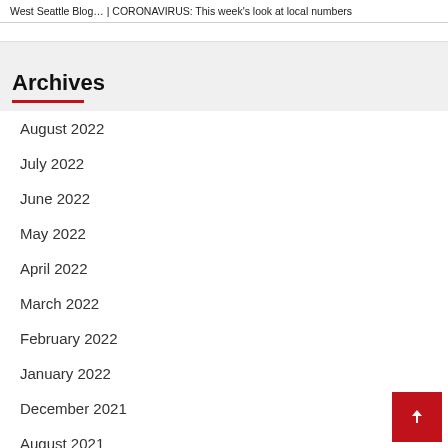West Seattle Blog… | CORONAVIRUS: This week's look at local numbers
Archives
August 2022
July 2022
June 2022
May 2022
April 2022
March 2022
February 2022
January 2022
December 2021
August 2021